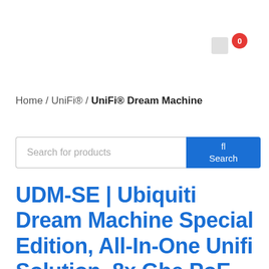0
Home / UniFi® / UniFi® Dream Machine
Search for products
UDM-SE | Ubiquiti Dream Machine Special Edition, All-In-One Unifi Solution, 8x Gbe PoE RJ45 Ports, 3.5" HDD Bay